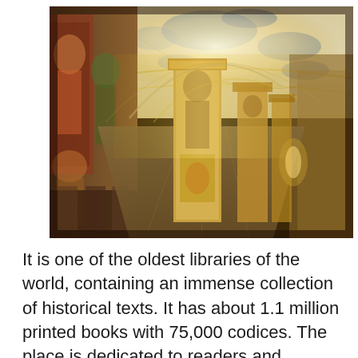[Figure (photo): Interior of an ornate historic library hall with elaborately painted frescoes covering the vaulted ceilings and walls, decorated marble pillars, and a long corridor receding into the distance. The style is Renaissance/Baroque, suggesting the Vatican Apostolic Library or a similar classical European institution.]
It is one of the oldest libraries of the world, containing an immense collection of historical texts. It has about 1.1 million printed books with 75,000 codices. The place is dedicated to readers and researchers who are interested in gathering knowledge of